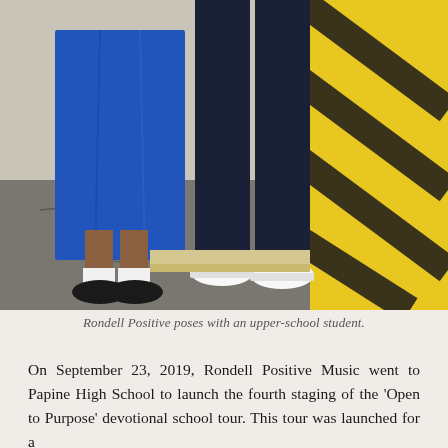[Figure (photo): Two people standing on asphalt near a yellow-painted curb. One person wears a blue dress and black shoes with white socks; the other wears dark jeans and white sneakers.]
Rondell Positive poses with an upper-school student.
On September 23, 2019, Rondell Positive Music went to Papine High School to launch the fourth staging of the 'Open to Purpose' devotional school tour. This tour was launched for a